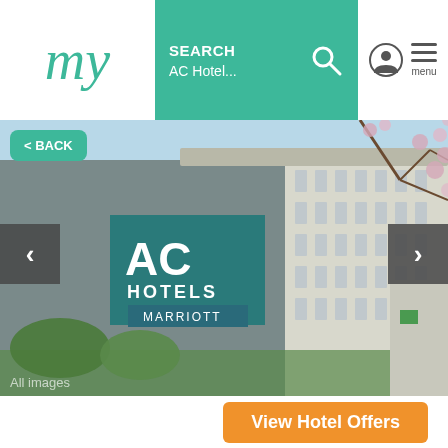[Figure (logo): my logo in teal italic script font]
SEARCH AC Hotel...
[Figure (photo): AC Hotels by Marriott building exterior, modern white multi-story hotel with signage showing AC HOTELS MARRIOTT, blue sky, cherry blossom branches visible on right]
< BACK
All images
View Hotel Offers